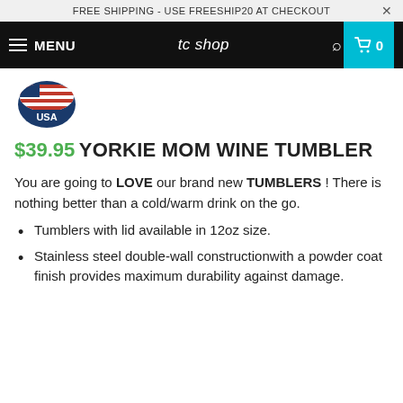FREE SHIPPING - USE FREESHIP20 AT CHECKOUT
MENU  tc shop  0
[Figure (logo): USA circular logo with American flag and 'USA' text]
$39.95 YORKIE MOM WINE TUMBLER
You are going to LOVE our brand new TUMBLERS ! There is nothing better than a cold/warm drink on the go.
Tumblers with lid available in 12oz size.
Stainless steel double-wall constructionwith a powder coat finish provides maximum durability against damage.